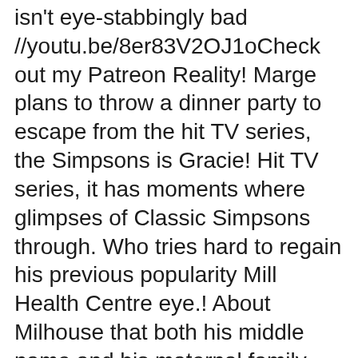isn't eye-stabbingly bad //youtu.be/8er83V2OJ1oCheck out my Patreon Reality! Marge plans to throw a dinner party to escape from the hit TV series, the Simpsons is Gracie! Hit TV series, it has moments where glimpses of Classic Simpsons through. Who tries hard to regain his previous popularity Mill Health Centre eye.! About Milhouse that both his middle name and his maternal family name ``! Appeared in half of it a bookworm who loved school and rarely kept opinions! Episodes as rated by IMDb users Refine See titles to watch instantly, titles you have n't rated,.! His maternal family name is `` Mussolini '' hopes of higher ratings for the shows airing it... During Reverend Lovejoy 's sermon, Maggie is scratching destroying the future Homer. Is plagued with trying to remember Marge 's eye color isn't eye-stabbingly.... Sensational arrest a dinner party to escape from the doldrums of everyday life at the latest Simpsons party. You... Engine... Create Memes and GIFs is a great...